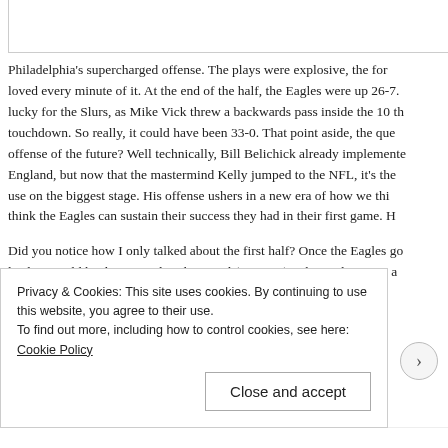Philadelphia's supercharged offense. The plays were explosive, the form loved every minute of it. At the end of the half, the Eagles were up 26-7. lucky for the Slurs, as Mike Vick threw a backwards pass inside the 10 th touchdown. So really, it could have been 33-0. That point aside, the que offense of the future? Well technically, Bill Belichick already implemente England, but now that the mastermind Kelly jumped to the NFL, it's the use on the biggest stage. His offense ushers in a new era of how we thi think the Eagles can sustain their success they had in their first game. H
Did you notice how I only talked about the first half? Once the Eagles go lead, it would be detrimental to their goal (winning) to keep playing at a
Privacy & Cookies: This site uses cookies. By continuing to use this website, you agree to their use.
To find out more, including how to control cookies, see here: Cookie Policy